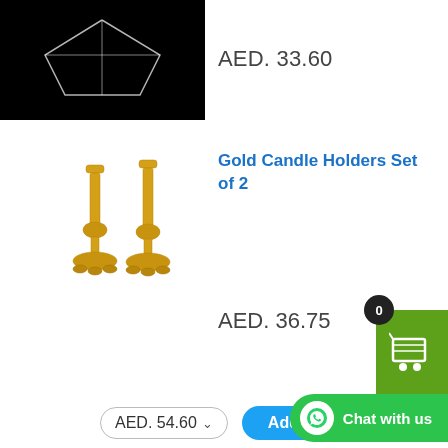[Figure (photo): Product image on black background - partial top of page]
AED. 33.60
[Figure (photo): Two gold candle holders on white background]
Gold Candle Holders Set of 2
AED. 36.75
Top Rated Products
Gold Finish Ceramic
AED. 54.60
Add to cart
Chat with us